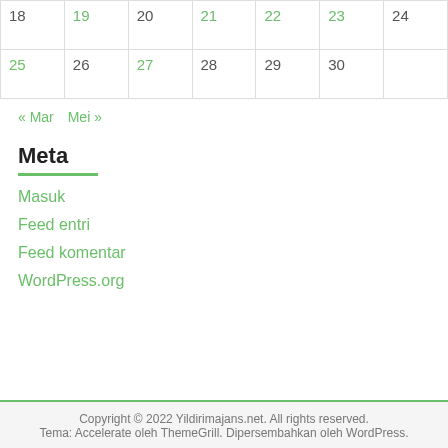| 18 | 19 | 20 | 21 | 22 | 23 | 24 |
| 25 | 26 | 27 | 28 | 29 | 30 |  |
« Mar   Mei »
Meta
Masuk
Feed entri
Feed komentar
WordPress.org
Copyright © 2022 Yildirimajans.net. All rights reserved. Tema: Accelerate oleh ThemeGrill. Dipersembahkan oleh WordPress.